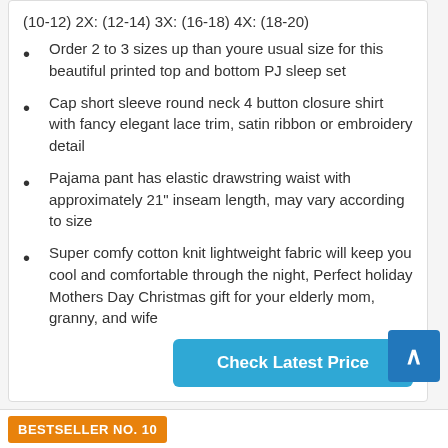(10-12) 2X: (12-14) 3X: (16-18) 4X: (18-20)
Order 2 to 3 sizes up than youre usual size for this beautiful printed top and bottom PJ sleep set
Cap short sleeve round neck 4 button closure shirt with fancy elegant lace trim, satin ribbon or embroidery detail
Pajama pant has elastic drawstring waist with approximately 21" inseam length, may vary according to size
Super comfy cotton knit lightweight fabric will keep you cool and comfortable through the night, Perfect holiday Mothers Day Christmas gift for your elderly mom, granny, and wife
Check Latest Price
BESTSELLER NO. 10